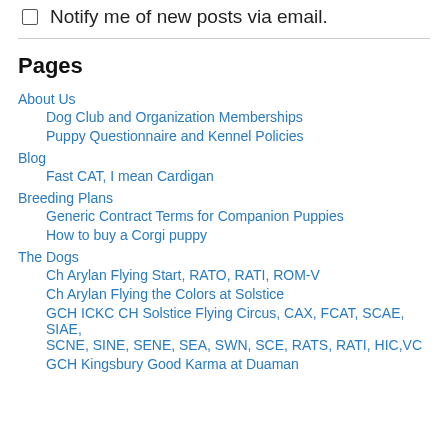Notify me of new posts via email.
Pages
About Us
Dog Club and Organization Memberships
Puppy Questionnaire and Kennel Policies
Blog
Fast CAT, I mean Cardigan
Breeding Plans
Generic Contract Terms for Companion Puppies
How to buy a Corgi puppy
The Dogs
Ch Arylan Flying Start, RATO, RATI, ROM-V
Ch Arylan Flying the Colors at Solstice
GCH ICKC CH Solstice Flying Circus, CAX, FCAT, SCAE, SIAE, SCNE, SINE, SENE, SEA, SWN, SCE, RATS, RATI, HIC,VC
GCH Kingsbury Good Karma at Duaman